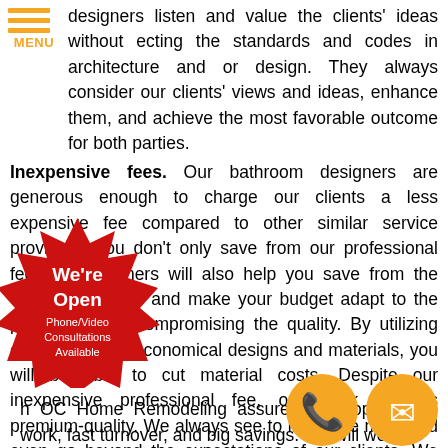[Figure (logo): Orange hamburger menu icon with three horizontal lines and MENU text below]
designers listen and value the clients' ideas without ecting the standards and codes in architecture and or design. They always consider our clients' views and ideas, enhance them, and achieve the most favorable outcome for both parties.
Inexpensive fees. Our bathroom designers are generous enough to charge our clients a less expensive fee compared to other similar service providers. You don't only save from our professional fee; our designers will also help you save from the overall expenses and make your budget adapt to the project without compromising the quality. By utilizing our sources for economical designs and materials, you will be able to cut material costs. Despite our inexpensive professional fee, our work remains premium-quality. We always see to it that we meet and even go beyond the expectations of our clients. We simply charge less and help you make the most out of your
[Figure (illustration): Red starburst badge with text 'We're Open Phone/Video Consultations Available']
[Figure (illustration): Orange circle with phone handset icon]
[Figure (illustration): Orange circle with mail/envelope icon]
h OC Home Remodeling assures you top-quality work, fast turnover, and big savings. We will work